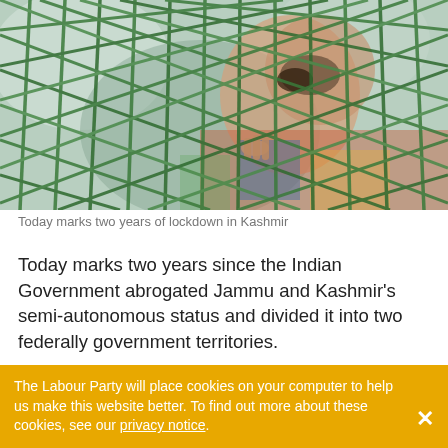[Figure (photo): Child looking through a green wire mesh fence in Kashmir]
Today marks two years of lockdown in Kashmir
Today marks two years since the Indian Government abrogated Jammu and Kashmir’s semi-autonomous status and divided it into two federally government territories.
This decision forced millions of Kashmiris into a state of lockdown and information blackout, leaving phone lines cut and suspending access to the internet. In the past two years, thousands have been arbitrarily arrested and
The Labour Party will place cookies on your computer to help us make this website better. To find out more about these cookies, see our privacy notice.